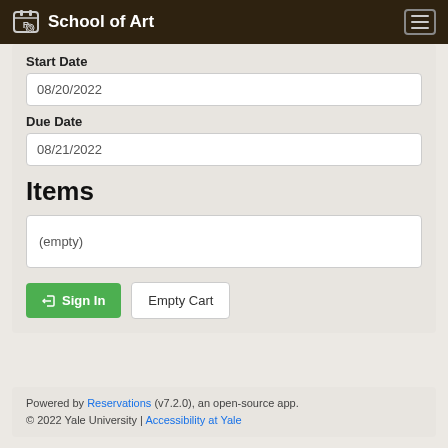School of Art
Start Date
08/20/2022
Due Date
08/21/2022
Items
(empty)
Sign In  Empty Cart
Powered by Reservations (v7.2.0), an open-source app. © 2022 Yale University | Accessibility at Yale